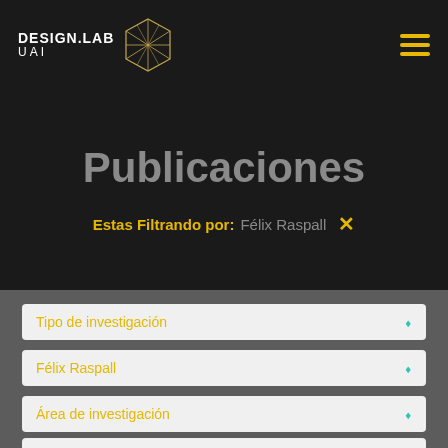DESIGN.LAB UAI
Publicaciones
Estas Filtrando por: Félix Raspall ×
Tipo de investigación
Félix Raspall
Área de investigación
Año
Buscar